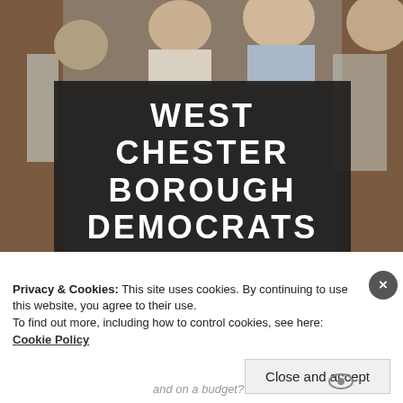[Figure (photo): Group of people standing outside a building with brick walls and windows, used as background for West Chester Borough Democrats webpage header]
WEST CHESTER BOROUGH DEMOCRATS
West Chester Democratic Committee * Zone 9 • PA
Privacy & Cookies: This site uses cookies. By continuing to use this website, you agree to their use.
To find out more, including how to control cookies, see here: Cookie Policy
Close and accept
and on a budget?